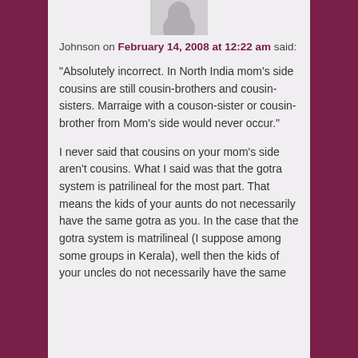[Figure (illustration): Partial avatar/profile image of a person, cropped at top]
Johnson on February 14, 2008 at 12:22 am said:
“Absolutely incorrect. In North India mom’s side cousins are still cousin-brothers and cousin-sisters. Marraige with a couson-sister or cousin-brother from Mom’s side would never occur.”
I never said that cousins on your mom’s side aren’t cousins. What I said was that the gotra system is patrilineal for the most part. That means the kids of your aunts do not necessarily have the same gotra as you. In the case that the gotra system is matrilineal (I suppose among some groups in Kerala), well then the kids of your uncles do not necessarily have the same